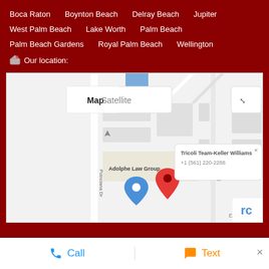Boca Raton    Boynton Beach    Delray Beach    Jupiter
West Palm Beach    Lake Worth    Palm Beach
Palm Beach Gardens    Royal Palm Beach    Wellington
Our location:
[Figure (map): Google Maps view showing a red pin marker for Tricoli Team-Keller Williams at +1 (561) 220-2288, with nearby Adolphe Law Group and Poinciana Dr visible. Map/Satellite toggle and expand button shown.]
Call
Text